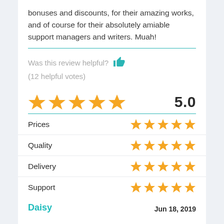bonuses and discounts, for their amazing works, and of course for their absolutely amiable support managers and writers. Muah!
Was this review helpful? 👍
(12 helpful votes)
[Figure (infographic): 5-star rating display showing 5 filled orange stars and rating score 5.0]
| Category | Stars |
| --- | --- |
| Prices | ★★★★★ |
| Quality | ★★★★★ |
| Delivery | ★★★★★ |
| Support | ★★★★★ |
Daisy   Jun 18, 2019